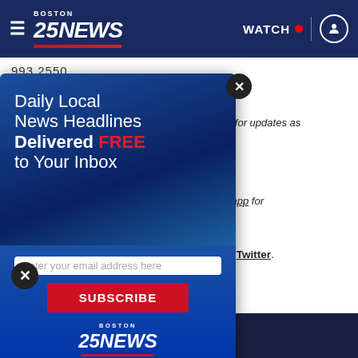[Figure (screenshot): Boston 25 News website screenshot with navigation bar showing logo, hamburger menu, WATCH button with live red dot, and user icon on dark blue background]
993-2550
ack for updates as le.
[Figure (infographic): Newsletter signup modal overlay with blue gradient background. Text reads: Daily Local News Headlines Delivered FREE to Your Inbox. Email input field and SUBSCRIBE button. Boston 25 News logo at bottom.]
ws app for
ok and Twitter.
Read Next